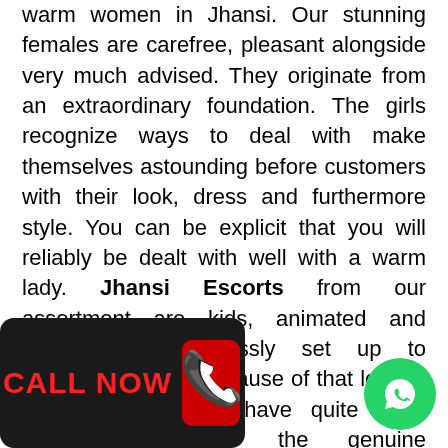warm women in Jhansi. Our stunning females are carefree, pleasant alongside very much advised. They originate from an extraordinary foundation. The girls recognize ways to deal with make themselves astounding before customers with their look, dress and furthermore style. You can be explicit that you will reliably be dealt with well with a warm lady. Jhansi Escorts from our assortment are kids, animated and furthermore ceaselessly set up to execute the best. Because of that long in the profession, we have quite been perceived to be the genuine notwithstanding most of fulfilling woman to bring with. With regards to have an excellent time in Jhansi escorts agency is the best choice to pick. Being among the main assistance in Jhansi, we exploit to assist you with looking for of the most electrifying and ng women to spend time tuality ceaselessly been real
[Figure (other): Black banner with red CALL NOW text and phone icon]
[Figure (other): Green WhatsApp circular button with white WhatsApp logo]